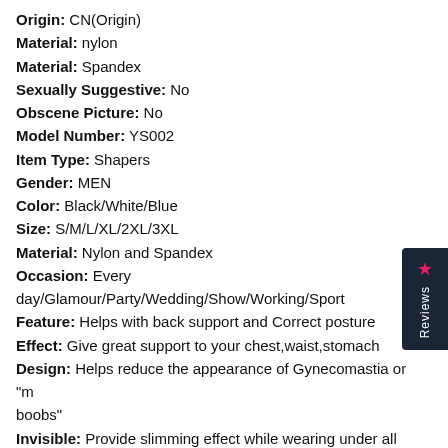Origin: CN(Origin)
Material: nylon
Material: Spandex
Sexually Suggestive: No
Obscene Picture: No
Model Number: YS002
Item Type: Shapers
Gender: MEN
Color: Black/White/Blue
Size: S/M/L/XL/2XL/3XL
Material: Nylon and Spandex
Occasion: Every day/Glamour/Party/Wedding/Show/Working/Sport
Feature: Helps with back support and Correct posture
Effect: Give great support to your chest,waist,stomach
Design: Helps reduce the appearance of Gynecomastia or "man boobs"
Invisible: Provide slimming effect while wearing under all types of clothing
Warehouse Location: China;United States